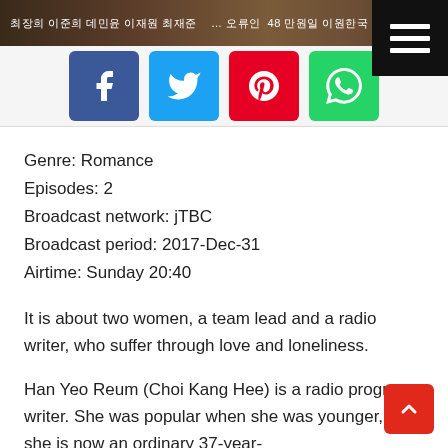최장희 이준희 데민윤 이재원 최재준 … 오류인 48 만원일 이원한국 인기관 국구 …
[Figure (screenshot): Social media share buttons: Facebook (blue), Twitter (cyan), Pinterest (red), WhatsApp (green), and a hamburger menu button (black)]
Genre: Romance
Episodes: 2
Broadcast network: jTBC
Broadcast period: 2017-Dec-31
Airtime: Sunday 20:40
It is about two women, a team lead and a radio writer, who suffer through love and loneliness.
Han Yeo Reum (Choi Kang Hee) is a radio program writer. She was popular when she was younger, but she is now an ordinary 37-year-